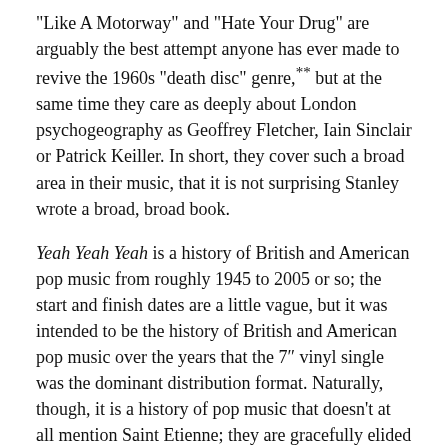“Like A Motorway” and “Hate Your Drug” are arguably the best attempt anyone has ever made to revive the 1960s “death disc” genre,** but at the same time they care as deeply about London psychogeography as Geoffrey Fletcher, Iain Sinclair or Patrick Keiller. In short, they cover such a broad area in their music, that it is not surprising Stanley wrote a broad, broad book.
Yeah Yeah Yeah is a history of British and American pop music from roughly 1945 to 2005 or so; the start and finish dates are a little vague, but it was intended to be the history of British and American pop music over the years that the 7″ vinyl single was the dominant distribution format. Naturally, though, it is a history of pop music that doesn’t at all mention Saint Etienne; they are gracefully elided from the chapters they would naturally fit into. I wasn’t really surprised; it would seem a bit gauche to pretend to write about yourself in the same detached and journalistic style as the rest of the book. I do, for this bit, though...